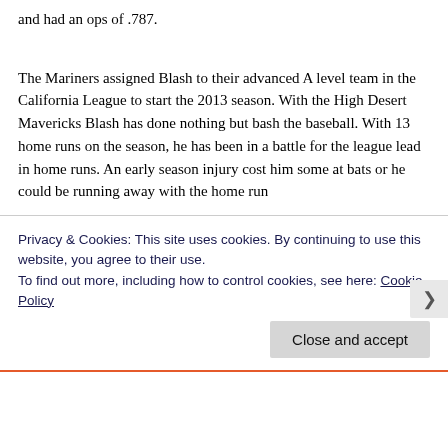and had an ops of .787.
The Mariners assigned Blash to their advanced A level team in the California League to start the 2013 season. With the High Desert Mavericks Blash has done nothing but bash the baseball. With 13 home runs on the season, he has been in a battle for the league lead in home runs. An early season injury cost him some at bats or he could be running away with the home run
Privacy & Cookies: This site uses cookies. By continuing to use this website, you agree to their use.
To find out more, including how to control cookies, see here: Cookie Policy
Close and accept